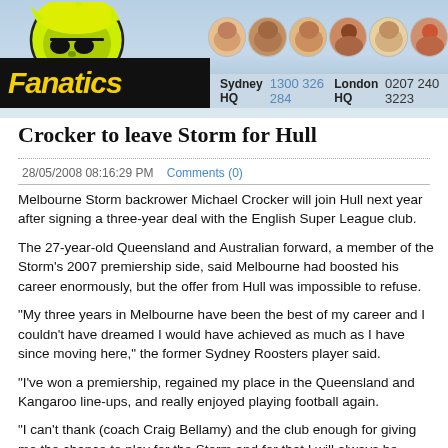Fanatics — Sydney HQ 1300 326 284  London HQ 0207 240 3223
Crocker to leave Storm for Hull
28/05/2008 08:16:29 PM   Comments (0)
Melbourne Storm backrower Michael Crocker will join Hull next year after signing a three-year deal with the English Super League club.
The 27-year-old Queensland and Australian forward, a member of the Storm's 2007 premiership side, said Melbourne had boosted his career enormously, but the offer from Hull was impossible to refuse.
"My three years in Melbourne have been the best of my career and I couldn't have dreamed I would have achieved as much as I have since moving here," the former Sydney Roosters player said.
"I've won a premiership, regained my place in the Queensland and Kangaroo line-ups, and really enjoyed playing football again.
"I can't thank (coach Craig Bellamy) and the club enough for giving me the chance to play for the Storm and for that I will always be grateful.